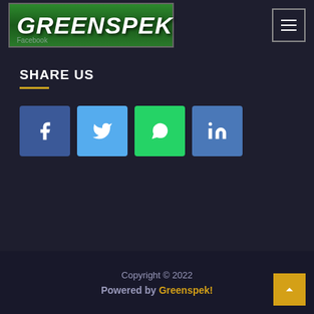[Figure (logo): Greenspek logo on green background with white bold italic text, inside a bordered rectangle. Facebook text visible below.]
SHARE US
[Figure (infographic): Four social media share buttons: Facebook (dark blue), Twitter (light blue), WhatsApp (green), LinkedIn (blue)]
Copyright © 2022
Powered by Greenspek!